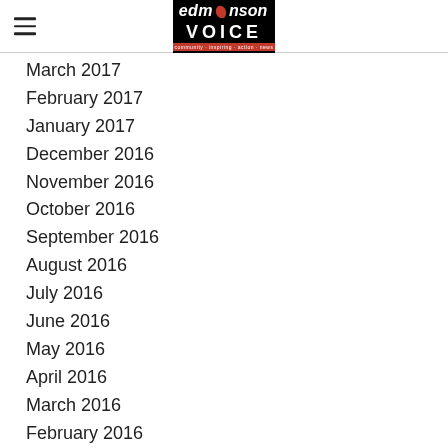Edmonson Voice
March 2017
February 2017
January 2017
December 2016
November 2016
October 2016
September 2016
August 2016
July 2016
June 2016
May 2016
April 2016
March 2016
February 2016
January 2016
December 2015
November 2015
October 2015